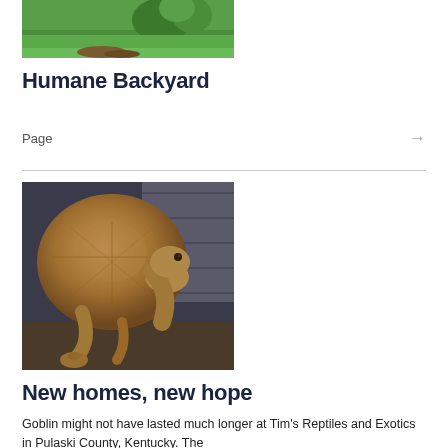[Figure (photo): Partial photo of a green grassy backyard with shrubs and garden area, cropped at top]
Humane Backyard
Page →
[Figure (photo): Close-up photo of a large brown tortoise (Goblin) looking upward at the camera, set against a stone/concrete background]
New homes, new hope
Goblin might not have lasted much longer at Tim's Reptiles and Exotics in Pulaski County, Kentucky. The